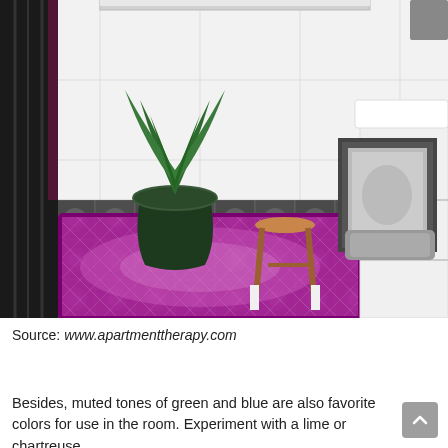[Figure (photo): Bathroom interior with black and white patterned tile floor, a vibrant magenta/purple vintage runner rug, a large dark green urn planter with tropical plant, a wooden stool, a framed picture leaning against the wall, a white toilet, a white floating vanity with black drawer pulls, and a black shower curtain on the left.]
Source: www.apartmenttherapy.com
Besides, muted tones of green and blue are also favorite colors for use in the room. Experiment with a lime or chartreuse